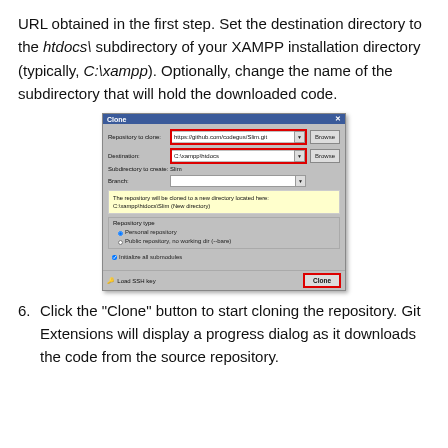URL obtained in the first step. Set the destination directory to the htdocs\ subdirectory of your XAMPP installation directory (typically, C:\xampp). Optionally, change the name of the subdirectory that will hold the downloaded code.
[Figure (screenshot): Screenshot of Git Extensions Clone dialog showing repository URL https://github.com/codegus/Slim.git, destination C:\xampp\htdocs, subdirectory Slim, with Clone button highlighted in red border.]
Click the "Clone" button to start cloning the repository. Git Extensions will display a progress dialog as it downloads the code from the source repository.